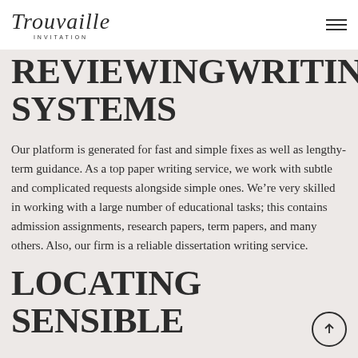Trouvaille INVITATION
REVIEWINGWRITING SYSTEMS
Our platform is generated for fast and simple fixes as well as lengthy-term guidance. As a top paper writing service, we work with subtle and complicated requests alongside simple ones. We’re very skilled in working with a large number of educational tasks; this contains admission assignments, research papers, term papers, and many others. Also, our firm is a reliable dissertation writing service.
LOCATING SENSIBLE